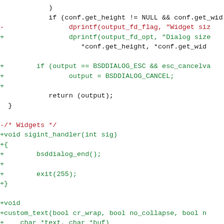[Figure (screenshot): Code diff screenshot showing C source code changes with red (removed) and green (added) lines. Contains function body with if-statements, return statement, closing brace, then new functions: sigint_handler and custom_text.]